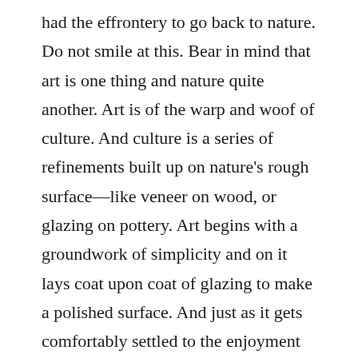had the effrontery to go back to nature. Do not smile at this. Bear in mind that art is one thing and nature quite another. Art is of the warp and woof of culture. And culture is a series of refinements built up on nature's rough surface—like veneer on wood, or glazing on pottery. Art begins with a groundwork of simplicity and on it lays coat upon coat of glazing to make a polished surface. And just as it gets comfortably settled to the enjoyment of self-satisfaction, along comes some genius and tears loose like the well-known bull in a china shop. Thus came Rodin. His gospel, nature.
But although he went to nature for his inspiration, in his work Rodin often gets quite a distance away from it. He is not a copyist, but an interpreter. In his treatment of corporeal things he is prone to